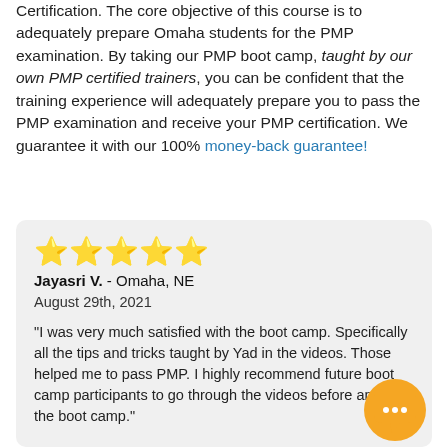Certification. The core objective of this course is to adequately prepare Omaha students for the PMP examination. By taking our PMP boot camp, taught by our own PMP certified trainers, you can be confident that the training experience will adequately prepare you to pass the PMP examination and receive your PMP certification. We guarantee it with our 100% money-back guarantee!
⭐⭐⭐⭐⭐
Jayasri V. - Omaha, NE
August 29th, 2021
"I was very much satisfied with the boot camp. Specifically all the tips and tricks taught by Yad in the videos. Those helped me to pass PMP. I highly recommend future boot camp participants to go through the videos before and after the boot camp."